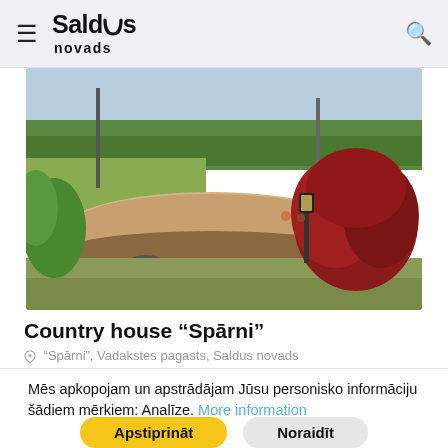Saldus novads
[Figure (photo): Large flat boulder/rock in a grassy area with green and red-leafed bushes in background, sunny day outdoor landscape. Saldus novads tourism photo.]
Country house “Spārni”
“Spārni”, Vadakstes pagasts, Saldus novads
Mēs apkopojam un apstrādājam Jūsu personisko informāciju šādiem mērķiem: Analīze. More information
Apstiprināt
Noraidīt